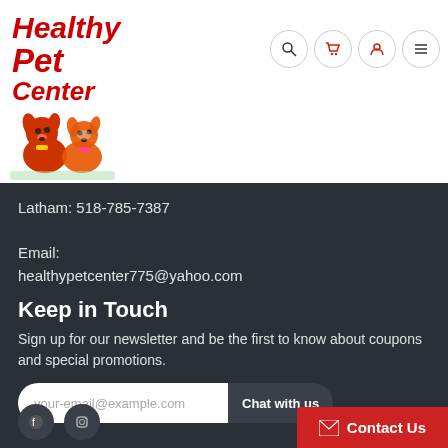[Figure (logo): Healthy Pet Center logo with red cartoon dogs and bold red italic text reading Healthy Pet Center]
Latham: 518-785-7387
Email: healthypetcenter775@yahoo.com
Keep in Touch
Sign up for our newsletter and be the first to know about coupons and special promotions.
your-email@example.com
Chat with us
Contact Us